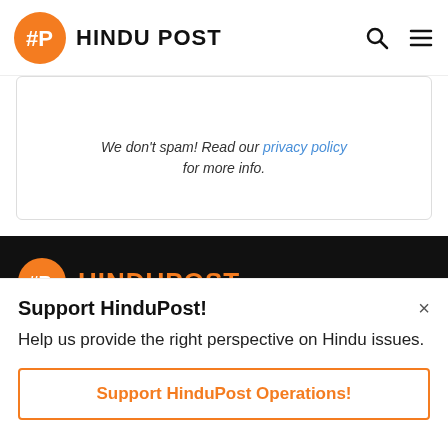HINDU POST
[Figure (other): Orange rounded button (subscribe/newsletter)]
We don't spam! Read our privacy policy for more info.
[Figure (logo): HinduPost logo with orange circle HP icon and HINDUPOST text in orange]
HinduPost is a news, commentary and opinion digital media outlet that provides the correct perspective on issues
Support HinduPost!
Help us provide the right perspective on Hindu issues.
Support HinduPost Operations!